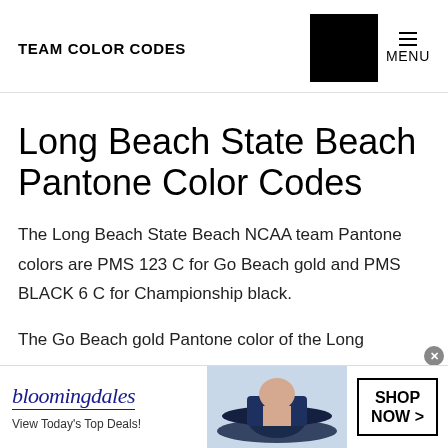TEAM COLOR CODES    MENU
Long Beach State Beach Pantone Color Codes
The Long Beach State Beach NCAA team Pantone colors are PMS 123 C for Go Beach gold and PMS BLACK 6 C for Championship black.
The Go Beach gold Pantone color of the Long
[Figure (other): Bloomingdale's advertisement banner with logo, 'View Today's Top Deals!' tagline, image of woman in hat, and 'SHOP NOW >' button]